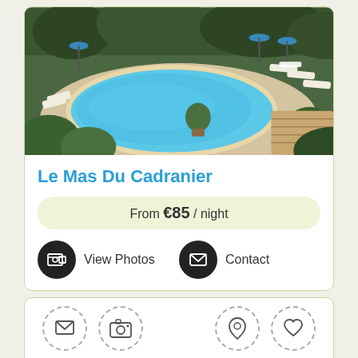[Figure (photo): Aerial view of a swimming pool with blue water, surrounded by stone patio, lounge chairs, blue umbrellas, and lush green vegetation]
Le Mas Du Cadranier
From €85 / night
View Photos
Contact
[Figure (infographic): Icon row with dashed circle outlines containing: envelope/mail icon, camera icon, location pin icon, heart icon]